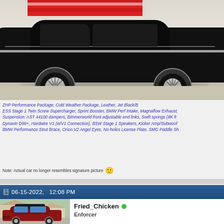[Figure (photo): Photo of a black BMW sedan (low profile, chrome wheels) shown from side angle, partially cropped at top, with red and white decorative banner/drape in background, parked on light concrete surface.]
ZHP Performance Package, Cold Weather Package, Leather, Jet Black/B ESS Stage 1 Twin Screw Supercharger, Sprint Booster, BMW Perf Intake, Magnaflow Exhaust, Suspension: AST 44100 dampers, Bimmerworld front adjustable end links, Swift springs (8K fr Dynavin D99+, Hardwire V1 (w/V1 Connection), BSW Stage 1 Speakers, Kicker Amp/Subwoof BMW Performance Strut Brace, Orion V2 Angel Eyes, No-holes License Plate, SMG Paddle Sh
Note: Actual car no longer resembles signature picture 🙂
06-15-2022,   12:08 PM
[Figure (photo): Avatar photo of a dark red/maroon BMW E46 convertible with a black roof box, parked in a residential driveway. Houses visible in background.]
Fried_Chicken ● Enforcer